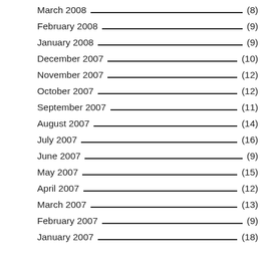March 2008 (8)
February 2008 (9)
January 2008 (9)
December 2007 (10)
November 2007 (12)
October 2007 (12)
September 2007 (11)
August 2007 (14)
July 2007 (16)
June 2007 (9)
May 2007 (15)
April 2007 (12)
March 2007 (13)
February 2007 (9)
January 2007 (18)